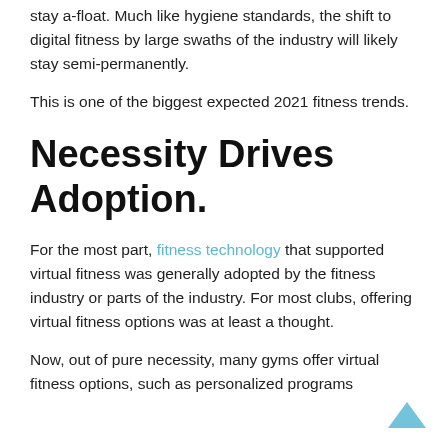stay a-float. Much like hygiene standards, the shift to digital fitness by large swaths of the industry will likely stay semi-permanently.
This is one of the biggest expected 2021 fitness trends.
Necessity Drives Adoption.
For the most part, fitness technology that supported virtual fitness was generally adopted by the fitness industry or parts of the industry. For most clubs, offering virtual fitness options was at least a thought.
Now, out of pure necessity, many gyms offer virtual fitness options, such as personalized programs